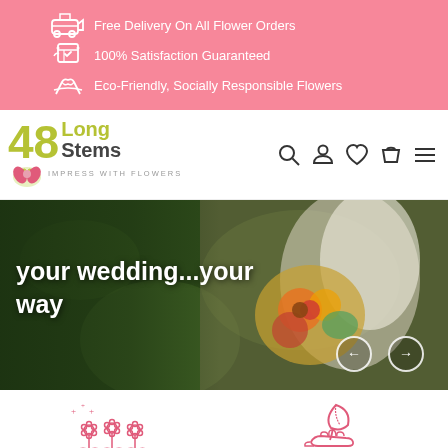Free Delivery On All Flower Orders | 100% Satisfaction Guaranteed | Eco-Friendly, Socially Responsible Flowers
[Figure (logo): 48 Long Stems logo with pink flower and 'Impress With Flowers' tagline, navigation icons]
[Figure (photo): Hero banner: bride in white dress holding a colorful bouquet with sunflowers, text overlay: 'your wedding...your way', with previous/next navigation buttons]
[Figure (illustration): Icon of flowers with sparkles, representing 7 Day Freshness Guarantee]
7 Day Freshness Guarantee
[Figure (illustration): Icon of a hand holding a plant/leaf, representing Eco-Friendly Flowers]
Eco-Friendly Flowers